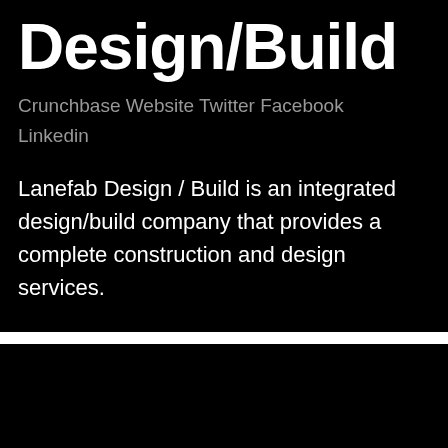Design/Build
Crunchbase Website Twitter Facebook Linkedin
Lanefab Design / Build is an integrated design/build company that provides a complete construction and design services.
[Figure (screenshot): Dark/black lower section panel with an upward arrow icon in the bottom right corner, partially showing some content at the very bottom edge.]